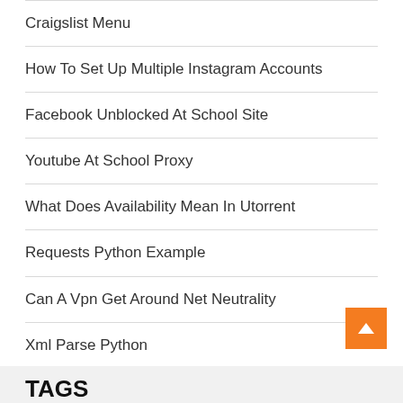Craigslist Menu
How To Set Up Multiple Instagram Accounts
Facebook Unblocked At School Site
Youtube At School Proxy
What Does Availability Mean In Utorrent
Requests Python Example
Can A Vpn Get Around Net Neutrality
Xml Parse Python
TAGS